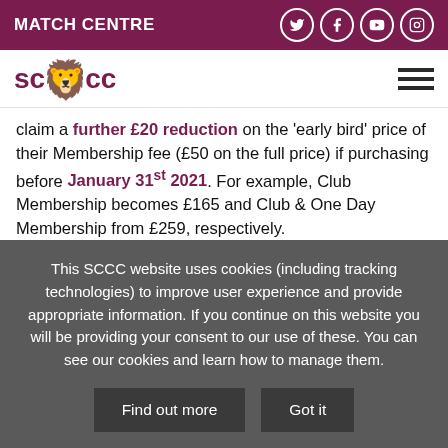MATCH CENTRE
[Figure (logo): SCCC logo with lion emblem]
claim a further £20 reduction on the 'early bird' price of their Membership fee (£50 on the full price) if purchasing before January 31st 2021. For example, Club Membership becomes £165 and Club & One Day Membership from £259, respectively.
For One Day and Club & One Day Members, we have extended the seat renewal deadline to January 20th
This SCCC website uses cookies (including tracking technologies) to improve user experience and provide appropriate information. If you continue on this website you will be providing your consent to our use of these. You can see our cookies and learn how to manage them.